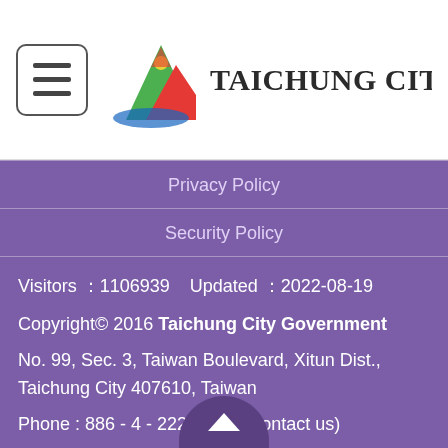[Figure (logo): Taichung City Government logo with colorful stylized mountain/wave icon and site title text]
TAICHUNG CITY GOVERNA
Privacy Policy
Security Policy
Visitors ：1106939   Updated ：2022-08-19
Copyright© 2016 Taichung City Government
No. 99, Sec. 3, Taiwan Boulevard, Xitun Dist., Taichung City 407610, Taiwan
Phone : 886 - 4 - 22289111 (Contact us)